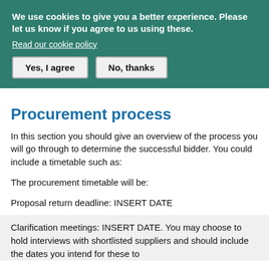We use cookies to give you a better experience. Please let us know if you agree to us using these.
Read our cookie policy
Yes, I agree
No, thanks
Procurement process
In this section you should give an overview of the process you will go through to determine the successful bidder. You could include a timetable such as:
The procurement timetable will be:
Proposal return deadline: INSERT DATE
Clarification meetings: INSERT DATE. You may choose to hold interviews with shortlisted suppliers and should include the dates you intend for these to